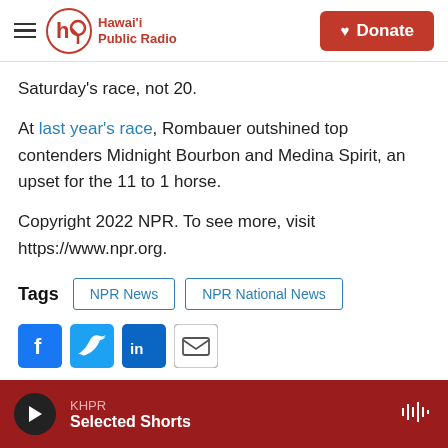Hawai'i Public Radio — Donate
Saturday's race, not 20.
At last year's race, Rombauer outshined top contenders Midnight Bourbon and Medina Spirit, an upset for the 11 to 1 horse.
Copyright 2022 NPR. To see more, visit https://www.npr.org.
Tags  NPR News  NPR National News
[Figure (infographic): Social share icons: Facebook, Twitter, LinkedIn, Email]
KHPR — Selected Shorts (audio player bar)